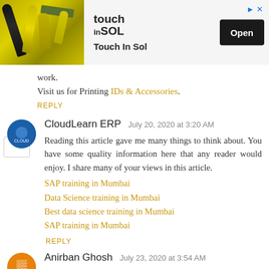[Figure (photo): Advertisement banner for Touch In SOL product showing mascara/cosmetic tubes in yellow-green packaging with an Open button]
work.
Visit us for Printing IDs & Accessories.
REPLY
CloudLearn ERP   July 20, 2020 at 3:20 AM
Reading this article gave me many things to think about. You have some quality information here that any reader would enjoy. I share many of your views in this article.
SAP training in Mumbai
Data Science training in Mumbai
Best data science training in Mumbai
SAP training in Mumbai
REPLY
Anirban Ghosh   July 23, 2020 at 3:54 AM